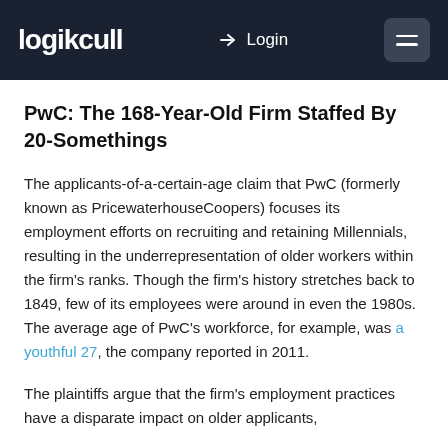logikcull | Login
PwC: The 168-Year-Old Firm Staffed By 20-Somethings
The applicants-of-a-certain-age claim that PwC (formerly known as PricewaterhouseCoopers) focuses its employment efforts on recruiting and retaining Millennials, resulting in the underrepresentation of older workers within the firm’s ranks. Though the firm’s history stretches back to 1849, few of its employees were around in even the 1980s. The average age of PwC’s workforce, for example, was a youthful 27, the company reported in 2011.
The plaintiffs argue that the firm’s employment practices have a disparate impact on older applicants,